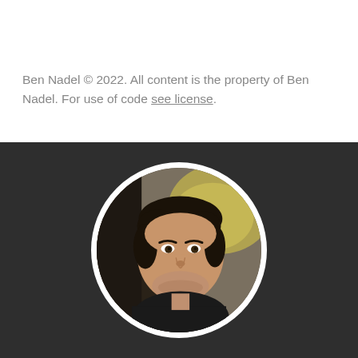Ben Nadel © 2022. All content is the property of Ben Nadel. For use of code see license.
[Figure (photo): Circular portrait photo of Ben Nadel, a man with dark hair wearing a black hoodie, smiling, set against a dark background section of the page.]